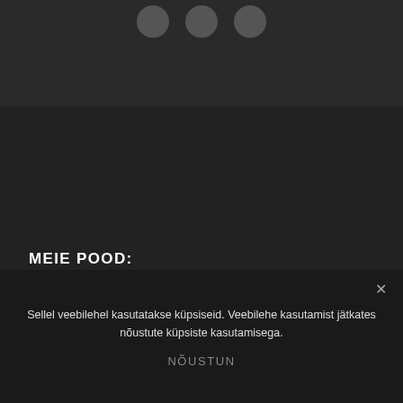[Figure (other): Three dark circular icons in a top dark bar]
MEIE POOD:
A: Punane 40. Tallinn . 13619
P: + 372 55 875 99
E: pood@tulepood.ee
Sellel veebilehel kasutatakse küpsiseid. Veebilehe kasutamist jätkates nõustute küpsiste kasutamisega.
NÕUSTUN